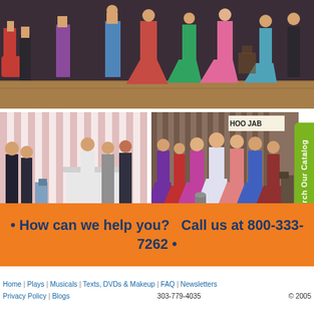[Figure (photo): Top wide photo: Children in costumes performing on a stage, colorful dresses and period costumes visible.]
[Figure (photo): Bottom left photo: Children in formal/period costumes on stage with striped backdrop, indoor theatre setting.]
[Figure (photo): Bottom right photo: Children in colorful poodle skirts and 50s-style costumes performing on stage with HOO JAB sign visible.]
Search Our Catalog
• How can we help you?   Call us at 800-333-7262 •
Home  |  Plays  |  Musicals  |  Texts, DVDs & Makeup  |  FAQ  |  Newsletters  |  Privacy Policy  |  Blogs        303-779-4035        © 2005